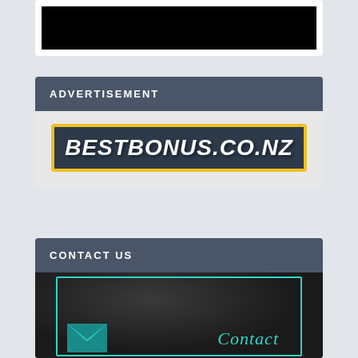[Figure (screenshot): Black image/video area at the top of a white card]
ADVERTISEMENT
[Figure (logo): BestBonus.co.nz banner logo with yellow border on dark background and white italic bold text BESTBONUS.CO.NZ]
CONTACT US
[Figure (screenshot): Dark rocky background image with cyan border, envelope icon bottom-left, and cyan italic 'Contact' text partially visible]